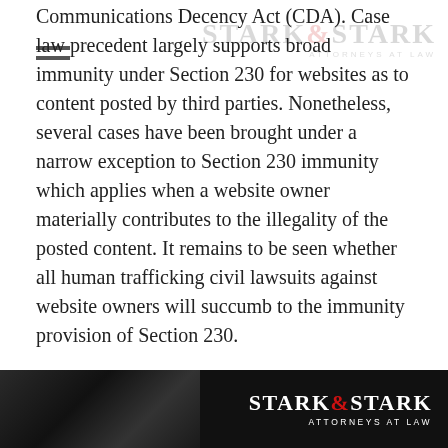Communications Decency Act (CDA). Case law precedent largely supports broad immunity under Section 230 for websites as to content posted by third parties. Nonetheless, several cases have been brought under a narrow exception to Section 230 immunity which applies when a website owner materially contributes to the illegality of the posted content. It remains to be seen whether all human trafficking civil lawsuits against website owners will succumb to the immunity provision of Section 230.
If you or someone you know has been victimized by the sex trade, contact the experienced attorneys at Stark & Stark for a free consultation.
[Figure (logo): Stark & Stark Attorneys at Law logo on dark background with silhouette of hands]